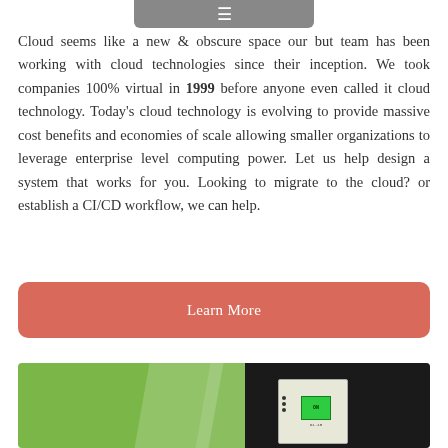☰ (navigation bar)
Cloud seems like a new & obscure space our but team has been working with cloud technologies since their inception. We took companies 100% virtual in 1999 before anyone even called it cloud technology. Today's cloud technology is evolving to provide massive cost benefits and economies of scale allowing smaller organizations to leverage enterprise level computing power. Let us help design a system that works for you. Looking to migrate to the cloud? or establish a CI/CD workflow, we can help.
Learn More
[Figure (photo): Green background image with dark panel on right side showing electronic device/hardware]